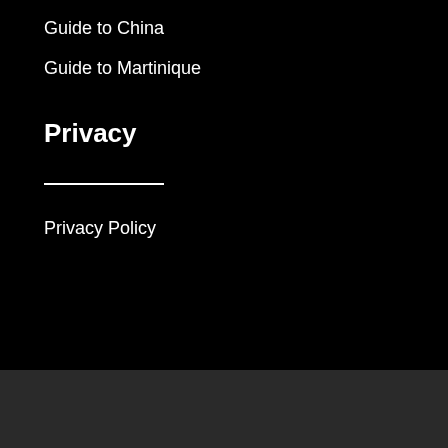Guide to China
Guide to Martinique
Privacy
Privacy Policy
© 2020 | Prométour Educational Tours and Beyond by Prométour are Prométour 2000 brands. | OPC Travel Agent Permit Holder #702379 from Québec, Canada